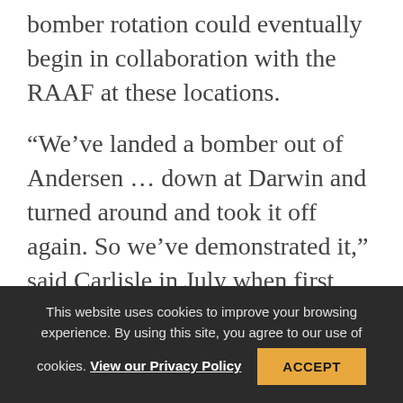bomber rotation could eventually begin in collaboration with the RAAF at these locations.
“We’ve landed a bomber out of Andersen … down at Darwin and turned around and took it off again. So we’ve demonstrated it,” said Carlisle in July when first detailing the renewed partnership. In late January, a lone B-52 was sent to Darwin for a short-term exercise with the Australians. PACAF officials and the Australians are also exploring deployments and training in
This website uses cookies to improve your browsing experience. By using this site, you agree to our use of cookies. View our Privacy Policy